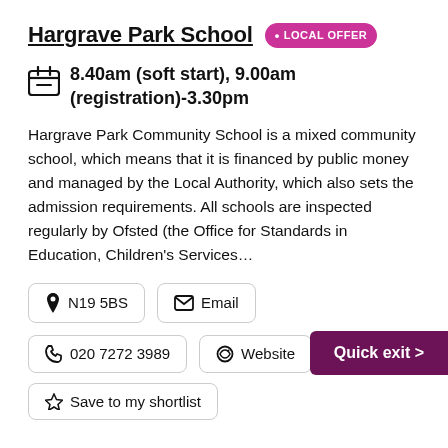Hargrave Park School • LOCAL OFFER
8.40am (soft start), 9.00am (registration)-3.30pm
Hargrave Park Community School is a mixed community school, which means that it is financed by public money and managed by the Local Authority, which also sets the admission requirements. All schools are inspected regularly by Ofsted (the Office for Standards in Education, Children's Services...
N19 5BS
Email
020 7272 3989
Website
Quick exit >
Save to my shortlist